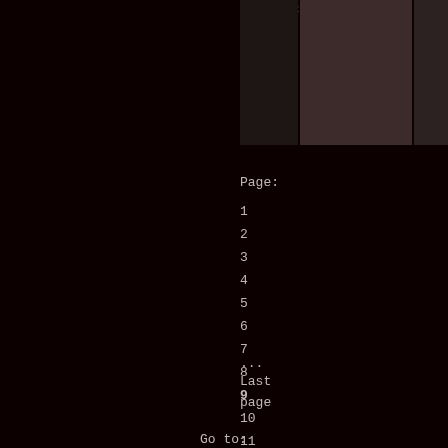[Figure (screenshot): Dark background with timestamp 19:54:12 and thumbnail images at top]
Page:
1
2
3
4
5
6
7
8
9
10
11
12
13
14
15
16
17
18
19
20
...
Last page
Go to:
[FR]